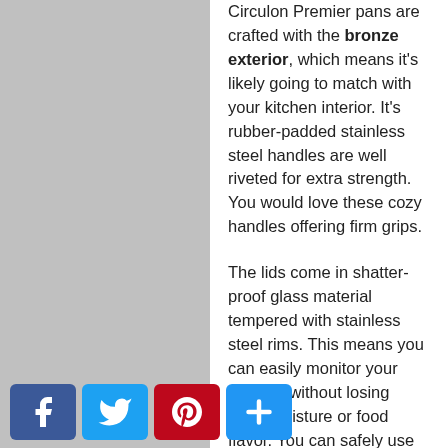Circulon Premier pans are crafted with the bronze exterior, which means it's likely going to match with your kitchen interior. It's rubber-padded stainless steel handles are well riveted for extra strength. You would love these cozy handles offering firm grips.

The lids come in shatter-proof glass material tempered with stainless steel rims. This means you can easily monitor your cooking without losing heat, moisture or food flavor. You can safely use these pans inside an ov…ut don't let the temperature rise beyond 400